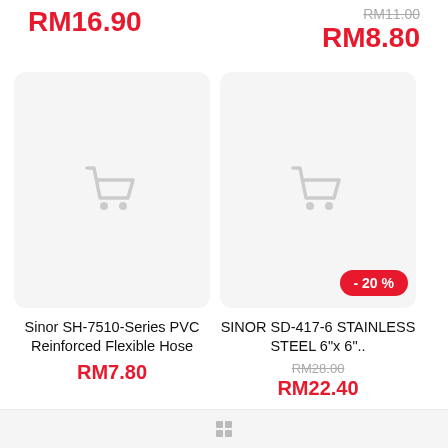RM16.90
RM8.80
[Figure (illustration): Product card placeholder with shopping cart icon, no discount badge, for Sinor SH-7510-Series PVC Reinforced Flexible Hose]
[Figure (illustration): Product card placeholder with shopping cart icon and -20% discount badge, for SINOR SD-417-6 STAINLESS STEEL 6"x6"]
Sinor SH-7510-Series PVC Reinforced Flexible Hose
RM7.80
SINOR SD-417-6 STAINLESS STEEL 6"x 6"..
RM28.00
RM22.40